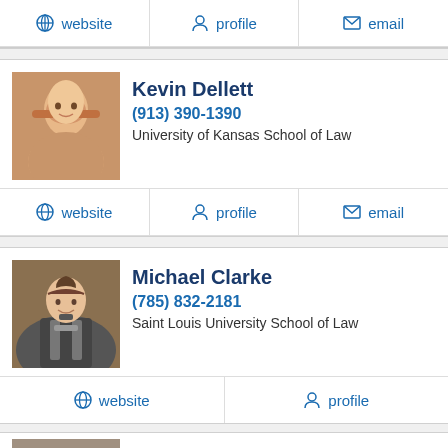website | profile | email
Kevin Dellett
(913) 390-1390
University of Kansas School of Law
website | profile | email
Michael Clarke
(785) 832-2181
Saint Louis University School of Law
website | profile